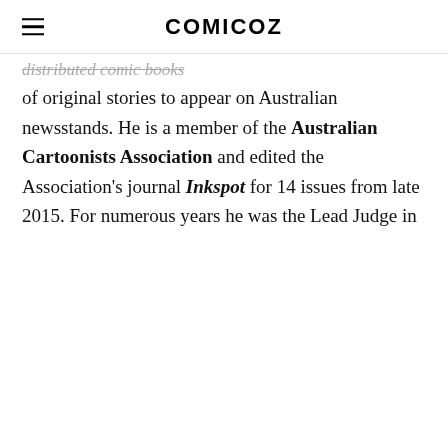COMICOZ
distributed comic books of original stories to appear on Australian newsstands. He is a member of the Australian Cartoonists Association and edited the Association's journal Inkspot for 14 issues from late 2015. For numerous years he was the Lead Judge in